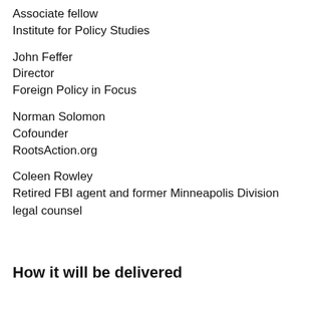Associate fellow
Institute for Policy Studies
John Feffer
Director
Foreign Policy in Focus
Norman Solomon
Cofounder
RootsAction.org
Coleen Rowley
Retired FBI agent and former Minneapolis Division legal counsel
How it will be delivered